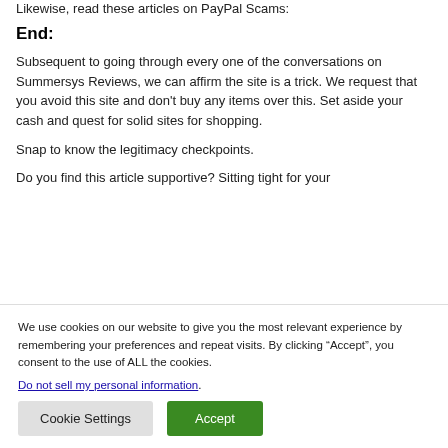Likewise, read these articles on PayPal Scams:
End:
Subsequent to going through every one of the conversations on Summersys Reviews, we can affirm the site is a trick. We request that you avoid this site and don't buy any items over this. Set aside your cash and quest for solid sites for shopping.
Snap to know the legitimacy checkpoints.
Do you find this article supportive? Sitting tight for your
We use cookies on our website to give you the most relevant experience by remembering your preferences and repeat visits. By clicking “Accept”, you consent to the use of ALL the cookies.
Do not sell my personal information.
Cookie Settings
Accept